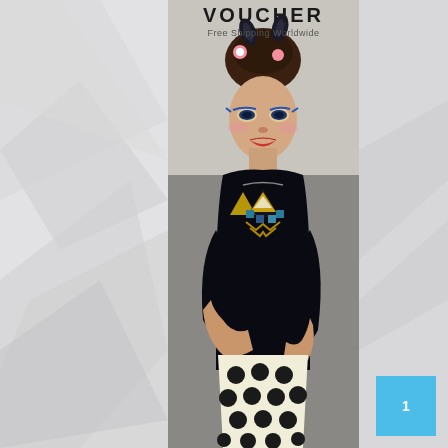VOUCHER
Free Shipping Worldwide
[Figure (photo): Fashion model with hair up decorated with flowers and a black bow, wearing a black long-sleeve top with a bold geometric gold and teal necklace, and a white polka-dot skirt. The image is cropped vertically in the center of the page.]
1